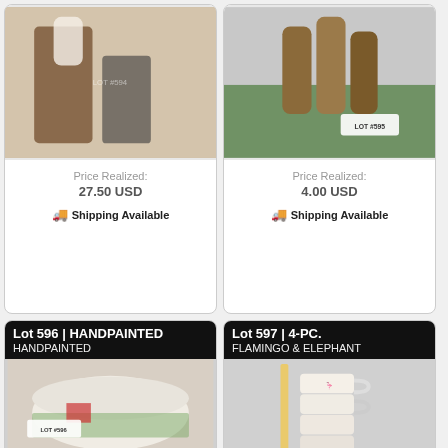[Figure (photo): Lot 594 – Decorative cowboy boots and metal boot scraper/holder]
Price Realized:
27.50 USD
🚚 Shipping Available
[Figure (photo): Lot 595 – Columbus the Friendly City souvenir corks on green base with sign, LOT #595]
Price Realized:
4.00 USD
🚚 Shipping Available
Lot 596 | HANDPAINTED
[Figure (photo): Lot 596 – Handpainted ceramic bowl with farm scene, LOT #596 tag visible]
Lot 597 | 4-PC. FLAMINGO & ELEPHANT
[Figure (photo): Lot 597 – 4-piece stackable mugs with flamingo and elephant designs, LOT #597 tag]